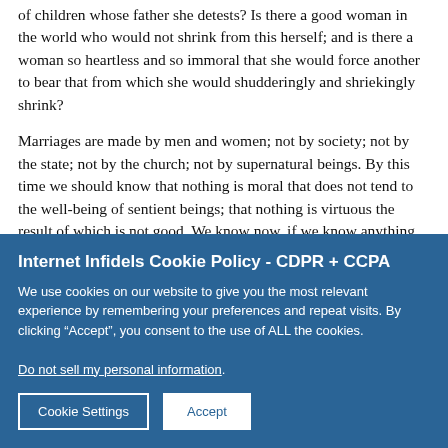of children whose father she detests? Is there a good woman in the world who would not shrink from this herself; and is there a woman so heartless and so immoral that she would force another to bear that from which she would shudderingly and shriekingly shrink?
Marriages are made by men and women; not by society; not by the state; not by the church; not by supernatural beings. By this time we should know that nothing is moral that does not tend to the well-being of sentient beings; that nothing is virtuous the result of which is not good. We know now, if we know anything, that all the reasons for doing right, and all the reasons against doing wrong, are here in this world. We should have imagination enough to put ourselves in the place of another. Let a man suppose himself a helpless woman beaten by a brutal husband
Internet Infidels Cookie Policy - CDPR + CCPA
We use cookies on our website to give you the most relevant experience by remembering your preferences and repeat visits. By clicking “Accept”, you consent to the use of ALL the cookies.
Do not sell my personal information.
Cookie Settings
Accept